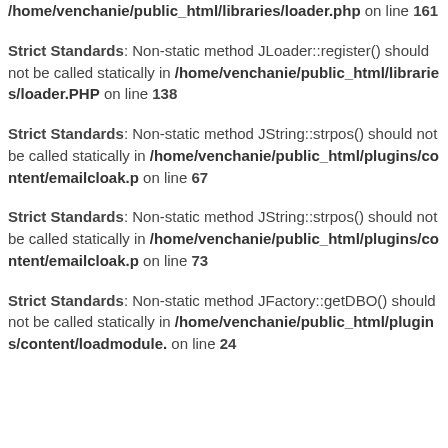/home/venchanie/public_html/libraries/loader.php on line 161
Strict Standards: Non-static method JLoader::register() should not be called statically in /home/venchanie/public_html/libraries/loader.php on line 138
Strict Standards: Non-static method JString::strpos() should not be called statically in /home/venchanie/public_html/plugins/content/emailcloak.p on line 67
Strict Standards: Non-static method JString::strpos() should not be called statically in /home/venchanie/public_html/plugins/content/emailcloak.p on line 73
Strict Standards: Non-static method JFactory::getDBO() should not be called statically in /home/venchanie/public_html/plugins/content/loadmodule. on line 24